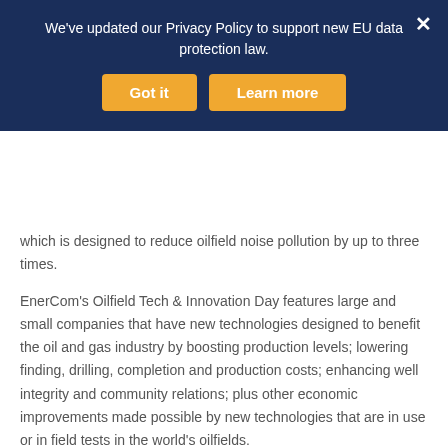We've updated our Privacy Policy to support new EU data protection law.
which is designed to reduce oilfield noise pollution by up to three times.
EnerCom's Oilfield Tech & Innovation Day features large and small companies that have new technologies designed to benefit the oil and gas industry by boosting production levels; lowering finding, drilling, completion and production costs; enhancing well integrity and community relations; plus other economic improvements made possible by new technologies that are in use or in field tests in the world's oilfields.
Who should attend Oilfield Tech & Innovation Day?